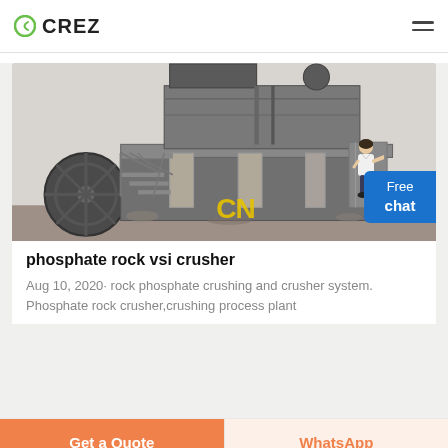CREZ
[Figure (photo): Industrial phosphate rock VSI crusher machine at a mining site, showing large mechanical equipment with a wheel, elevated platform structure with stairs and concrete pillars. CN watermark visible.]
phosphate rock vsi crusher
Aug 10, 2020· rock phosphate crushing and crusher system. Phosphate rock crusher,crushing process plant
Get a Quote | WhatsApp